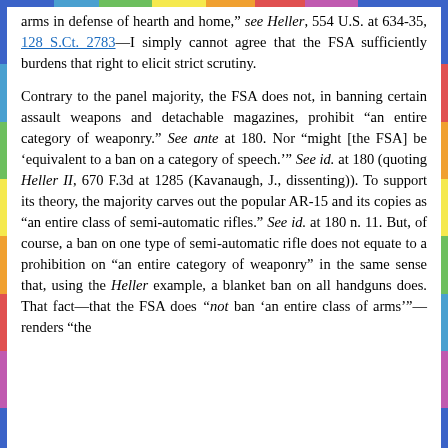arms in defense of hearth and home, see Heller, 554 U.S. at 634-35, 128 S.Ct. 2783—I simply cannot agree that the FSA sufficiently burdens that right to elicit strict scrutiny.
Contrary to the panel majority, the FSA does not, in banning certain assault weapons and detachable magazines, prohibit "an entire category of weaponry." See ante at 180. Nor "might [the FSA] be 'equivalent to a ban on a category of speech.'" See id. at 180 (quoting Heller II, 670 F.3d at 1285 (Kavanaugh, J., dissenting)). To support its theory, the majority carves out the popular AR-15 and its copies as "an entire class of semi-automatic rifles." See id. at 180 n. 11. But, of course, a ban on one type of semi-automatic rifle does not equate to a prohibition on "an entire category of weaponry" in the same sense that, using the Heller example, a blanket ban on all handguns does. That fact—that the FSA does "not ban 'an entire class of arms'"—renders "the